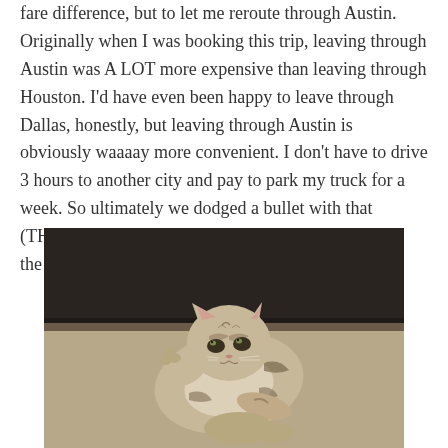fare difference, but to let me reroute through Austin. Originally when I was booking this trip, leaving through Austin was A LOT more expensive than leaving through Houston. I'd have even been happy to leave through Dallas, honestly, but leaving through Austin is obviously waaaay more convenient. I don't have to drive 3 hours to another city and pay to park my truck for a week. So ultimately we dodged a bullet with that (THANK YOU ANNA) and kinda came out ahead in the end.
[Figure (photo): A small tabby kitten lying on its back on a beige/tan couch, appearing relaxed with one paw raised. The photo has a warm, slightly dark tone.]